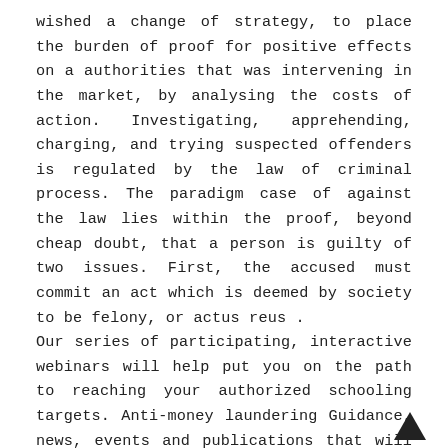wished a change of strategy, to place the burden of proof for positive effects on a authorities that was intervening in the market, by analysing the costs of action. Investigating, apprehending, charging, and trying suspected offenders is regulated by the law of criminal process. The paradigm case of against the law lies within the proof, beyond cheap doubt, that a person is guilty of two issues. First, the accused must commit an act which is deemed by society to be felony, or actus reus . Our series of participating, interactive webinars will help put you on the path to reaching your authorized schooling targets. Anti-money laundering Guidance, news, events and publications that will assist you detect and stop money laundering. We are the voice